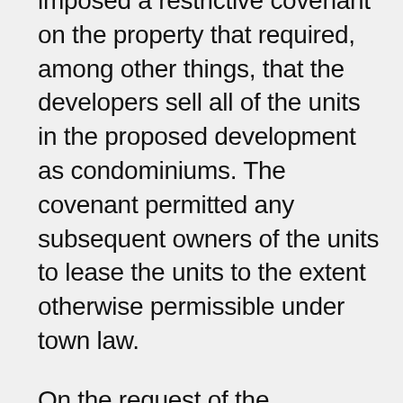imposed a restrictive covenant on the property that required, among other things, that the developers sell all of the units in the proposed development as condominiums. The covenant permitted any subsequent owners of the units to lease the units to the extent otherwise permissible under town law.
On the request of the developers, the town subsequently modified the restriction to permit them to lease up to 17 of the 172 units for five years after the issuance of the certificate of occupancy or until the delivery of title to the 155th unit, whichever occurred first. The town, however, denied the developers' later request to further modif...